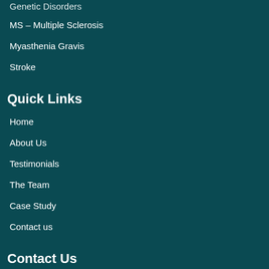Genetic Disorders
MS – Multiple Sclerosis
Myasthenia Gravis
Stroke
Quick Links
Home
About Us
Testimonials
The Team
Case Study
Contact us
Contact Us
Address : Townsend Enterprises Park 28 Townsend Street,